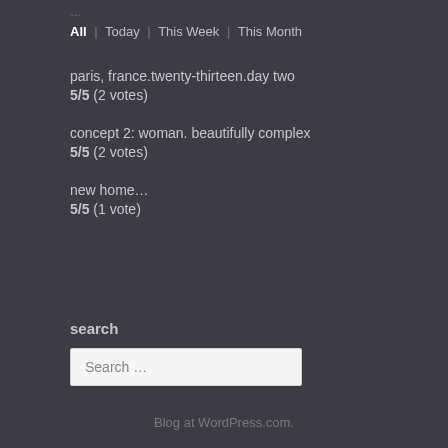…
All | Today | This Week | This Month
paris, france.twenty-thirteen.day two
5/5 (2 votes)
concept 2: woman. beautifully complex
5/5 (2 votes)
new home…
5/5 (1 vote)
search
Search …
Blog at WordPress.com.